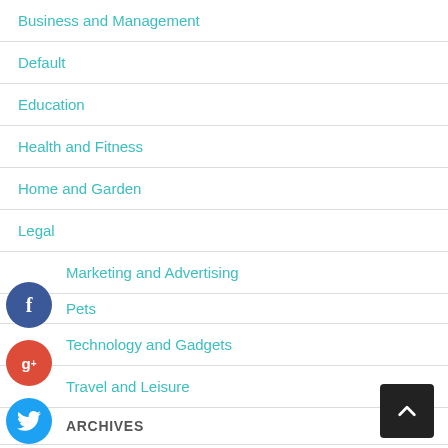Business and Management
Default
Education
Health and Fitness
Home and Garden
Legal
Marketing and Advertising
Pets
Technology and Gadgets
Travel and Leisure
ARCHIVES
September 2022